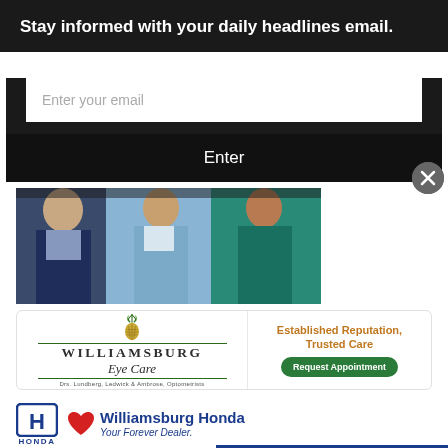Stay informed with your daily headlines email.
Enter your email
Enter
[Figure (photo): Group of people in business attire including a man in a dark blue suit, a woman in a light blue jacket, and a woman in teal]
[Figure (infographic): Williamsburg Eye Care advertisement with pineapple logo. Text: 'Established Reputation, Trusted Care' and 'Request Appointment' button. Drs. Lundberg, Ledwick & Ambrose, Optometrists]
[Figure (logo): Williamsburg Honda advertisement with Honda logo, heart icon, and text 'Williamsburg Honda - Your Forever Dealer.']